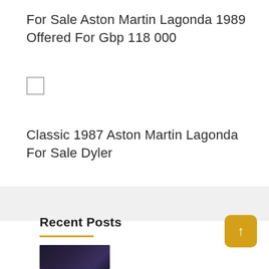For Sale Aston Martin Lagonda 1989 Offered For Gbp 118 000
[Figure (other): Empty checkbox / form element]
Classic 1987 Aston Martin Lagonda For Sale Dyler
[Figure (other): Gray banner / advertisement area]
Recent Posts
[Figure (photo): Dark thumbnail image of galaxy or night scene]